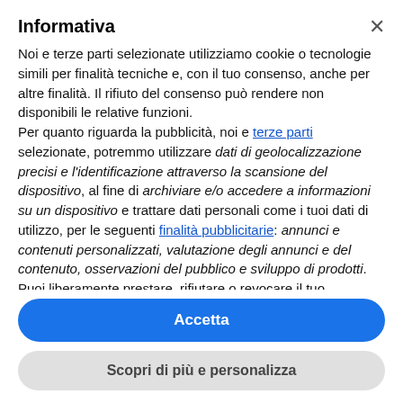Informativa
Noi e terze parti selezionate utilizziamo cookie o tecnologie simili per finalità tecniche e, con il tuo consenso, anche per altre finalità. Il rifiuto del consenso può rendere non disponibili le relative funzioni.
Per quanto riguarda la pubblicità, noi e terze parti selezionate, potremmo utilizzare dati di geolocalizzazione precisi e l'identificazione attraverso la scansione del dispositivo, al fine di archiviare e/o accedere a informazioni su un dispositivo e trattare dati personali come i tuoi dati di utilizzo, per le seguenti finalità pubblicitarie: annunci e contenuti personalizzati, valutazione degli annunci e del contenuto, osservazioni del pubblico e sviluppo di prodotti.
Puoi liberamente prestare, rifiutare o revocare il tuo consenso, in qualsiasi momento, accedendo al pannello delle
Accetta
Scopri di più e personalizza